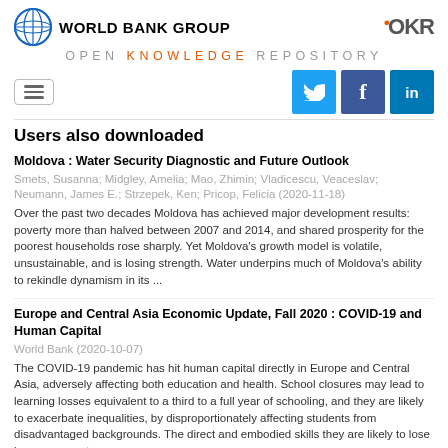WORLD BANK GROUP — OPEN KNOWLEDGE REPOSITORY
[Figure (logo): World Bank Group globe logo and OKR logo]
Users also downloaded
Moldova : Water Security Diagnostic and Future Outlook
Smets, Susanna; Midgley, Amelia; Mao, Zhimin; Vladicescu, Veaceslav; Neumann, James E.; Strzepek, Ken; Pricop, Felicia (2020-11-18)
Over the past two decades Moldova has achieved major development results: poverty more than halved between 2007 and 2014, and shared prosperity for the poorest households rose sharply. Yet Moldova's growth model is volatile, unsustainable, and is losing strength. Water underpins much of Moldova's ability to rekindle dynamism in its ...
Europe and Central Asia Economic Update, Fall 2020 : COVID-19 and Human Capital
World Bank (2020-10-07)
The COVID-19 pandemic has hit human capital directly in Europe and Central Asia, adversely affecting both education and health. School closures may lead to learning losses equivalent to a third to a full year of schooling, and they are likely to exacerbate inequalities, by disproportionately affecting students from disadvantaged backgrounds. The direct and embodied skills they are likely to lose have concern to ...